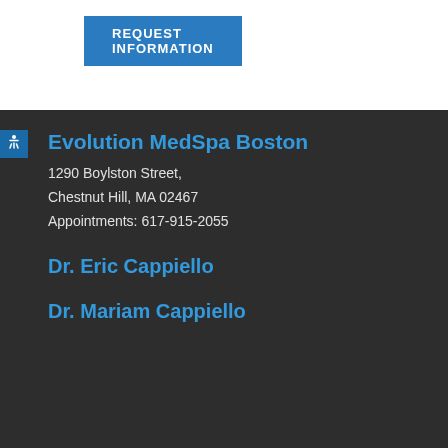REQUEST INFORMATION
Evolution MedSpa Boston
1290 Boylston Street,
Chestnut Hill, MA 02467
Appointments: 617-915-2055
Dr. Eric Cappiello
Dr. Mariam Cappiello